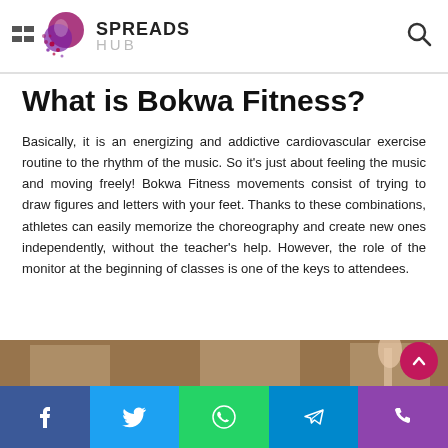SPREADS HUB
What is Bokwa Fitness?
Basically, it is an energizing and addictive cardiovascular exercise routine to the rhythm of the music. So it's just about feeling the music and moving freely! Bokwa Fitness movements consist of trying to draw figures and letters with your feet. Thanks to these combinations, athletes can easily memorize the choreography and create new ones independently, without the teacher's help. However, the role of the monitor at the beginning of classes is one of the keys to attendees.
[Figure (photo): Partial view of people exercising, cropped at bottom of page]
Social share buttons: Facebook, Twitter, WhatsApp, Telegram, Phone